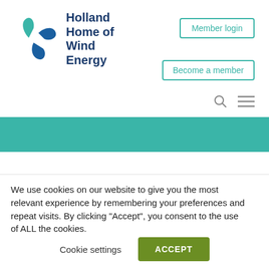[Figure (logo): Holland Home of Wind Energy logo with teal windmill/pinwheel icon and dark blue text]
Holland
Home of
Wind
Energy
Member login
Become a member
Bank
Bank: Rabobank
IBAN: NL37RABO0134286383
We use cookies on our website to give you the most relevant experience by remembering your preferences and repeat visits. By clicking “Accept”, you consent to the use of ALL the cookies.
Do not sell my personal information.
Cookie settings
ACCEPT